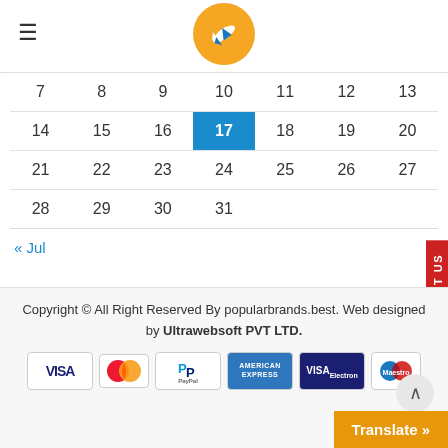[Figure (logo): Orange circle logo with a white airplane icon in the center]
|  |  |  |  |  |  |  |
| --- | --- | --- | --- | --- | --- | --- |
| 7 | 8 | 9 | 10 | 11 | 12 | 13 |
| 14 | 15 | 16 | 17 | 18 | 19 | 20 |
| 21 | 22 | 23 | 24 | 25 | 26 | 27 |
| 28 | 29 | 30 | 31 |  |  |  |
« Jul
CONTACT US
Copyright © All Right Reserved By popularbrands.best. Web designed by Ultrawebsoft PVT LTD.
[Figure (other): Payment icons: VISA, MasterCard, PayPal, American Express, VISA Electron, Maestro]
Translate »